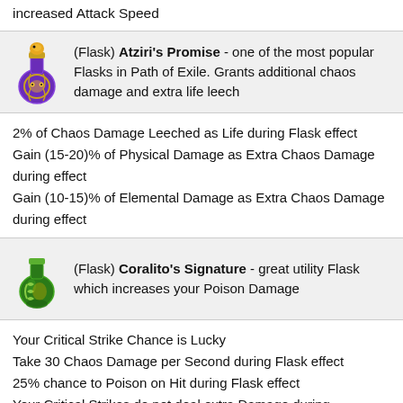increased Attack Speed
(Flask) Atziri's Promise - one of the most popular Flasks in Path of Exile. Grants additional chaos damage and extra life leech
2% of Chaos Damage Leeched as Life during Flask effect
Gain (15-20)% of Physical Damage as Extra Chaos Damage during effect
Gain (10-15)% of Elemental Damage as Extra Chaos Damage during effect
(Flask) Coralito's Signature - great utility Flask which increases your Poison Damage
Your Critical Strike Chance is Lucky
Take 30 Chaos Damage per Second during Flask effect
25% chance to Poison on Hit during Flask effect
Your Critical Strikes do not deal extra Damage during